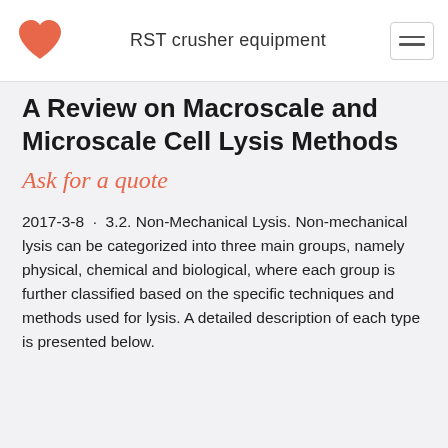RST crusher equipment
A Review on Macroscale and Microscale Cell Lysis Methods
Ask for a quote
2017-3-8 · 3.2. Non-Mechanical Lysis. Non-mechanical lysis can be categorized into three main groups, namely physical, chemical and biological, where each group is further classified based on the specific techniques and methods used for lysis. A detailed description of each type is presented below.